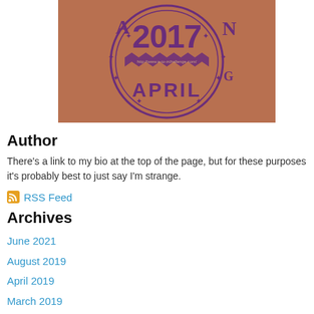[Figure (photo): A circular stamp/badge with orange-brown background and purple text reading '2017 APRIL' with decorative star elements and a URL in the center.]
Author
There's a link to my bio at the top of the page, but for these purposes it's probably best to just say I'm strange.
RSS Feed
Archives
June 2021
August 2019
April 2019
March 2019
May 2018